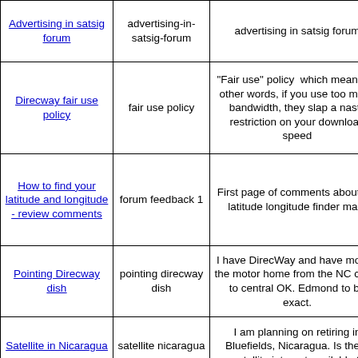| Link | Keyword | Description |
| --- | --- | --- |
| Advertising in satsig forum | advertising-in-satsig-forum | advertising in satsig forum |
| Direcway fair use policy | fair use policy | "Fair use" policy  which means, in other words, if you use too much bandwidth, they slap a nasty restriction on your download speed |
| How to find your latitude and longitude - review comments | forum feedback 1 | First page of comments about my latitude longitude finder map. |
| Pointing Direcway dish | pointing direcway dish | I have DirecWay and have moved the motor home from the NC coast to central OK. Edmond to be exact. |
| Satellite in Nicaragua | satellite nicaragua | I am planning on retiring in Bluefields, Nicaragua. Is there satellite internet available ? |
| Satellite Internet for remote area | remote area | I am looking at direct way for a satellite internet system. I live in Southern Illinois and would have the system installed there |